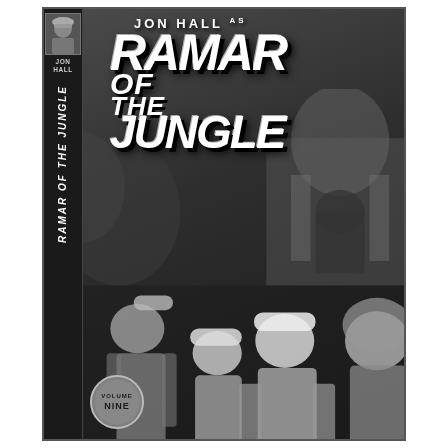[Figure (illustration): DVD/VHS cover for 'Ramar of the Jungle' Volume Nine starring Jon Hall. Black and white cover showing four characters in pith helmets and tropical explorer gear against a background featuring an Indian-style domed building. The spine shows Jon Hall's photo, his name, and the title vertically. A circular badge at bottom left reads 'Volume Nine'.]